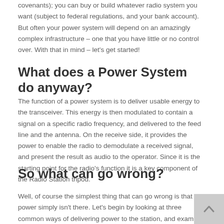covenants); you can buy or build whatever radio system you want (subject to federal regulations, and your bank account). But often your power system will depend on an amazingly complex infrastructure – one that you have little or no control over. With that in mind – let's get started!
What does a Power System do anyway?
The function of a power system is to deliver usable energy to the transceiver. This energy is then modulated to contain a signal on a specific radio frequency, and delivered to the feed line and the antenna. On the receive side, it provides the power to enable the radio to demodulate a received signal, and present the result as audio to the operator. Since it is the starting point for the radio's function it is a key component of the Radio Station tripod.
So what can go wrong?
Well, of course the simplest thing that can go wrong is that the power simply isn't there. Let's begin by looking at three common ways of delivering power to the station, and examine their